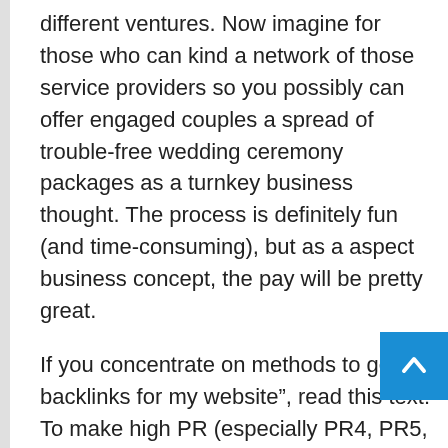different ventures. Now imagine for those who can kind a network of those service providers so you possibly can offer engaged couples a spread of trouble-free wedding ceremony packages as a turnkey business thought. The process is definitely fun (and time-consuming), but as a aspect business concept, the pay will be pretty great.
If you concentrate on methods to get backlinks for my website”, read this text! To make high PR (especially PR4, PR5, PR6, PR7, PR8, PR9) backlinks, you should utilize professional providers and get simple backlinks or buy excessive pr backlinks at our agency. CHI St. Luke’s reported an working loss of $200 million for fiscal 12 months 2020, Lawson said. Better reimbursement rates from Molina and Blue Cross Blue Defend of Te… wouldn't have offset all those losses, however may